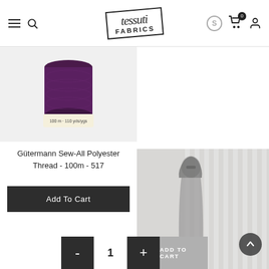[Figure (logo): Tessuti Fabrics logo in a tilted rectangle border]
[Figure (photo): Gütermann Sew-All Polyester Thread spool, purple/violet color, 100m product]
Gütermann Sew-All Polyester Thread - 100m - 517
Add To Cart
[Figure (photo): Woman wearing a long grey dress standing in front of a white slatted wall]
- 1 + ADD TO CART